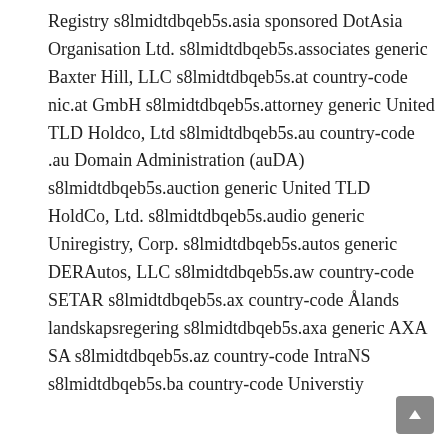Registry s8lmidtdbqeb5s.asia sponsored DotAsia Organisation Ltd. s8lmidtdbqeb5s.associates generic Baxter Hill, LLC s8lmidtdbqeb5s.at country-code nic.at GmbH s8lmidtdbqeb5s.attorney generic United TLD Holdco, Ltd s8lmidtdbqeb5s.au country-code .au Domain Administration (auDA) s8lmidtdbqeb5s.auction generic United TLD HoldCo, Ltd. s8lmidtdbqeb5s.audio generic Uniregistry, Corp. s8lmidtdbqeb5s.autos generic DERAutos, LLC s8lmidtdbqeb5s.aw country-code SETAR s8lmidtdbqeb5s.ax country-code Ålands landskapsregering s8lmidtdbqeb5s.axa generic AXA SA s8lmidtdbqeb5s.az country-code IntraNS s8lmidtdbqeb5s.ba country-code Universtiy Telinformatic Centre (UTIC) s8lmidtdbqeb5s.band generic United TLD Holdco, Ltd s8lmidtdbqeb5s.bar generic Punto 2012 Sociedad Anonima Promotora de Inversion de Capital Variable s8lmidtdbqeb5s.bargains